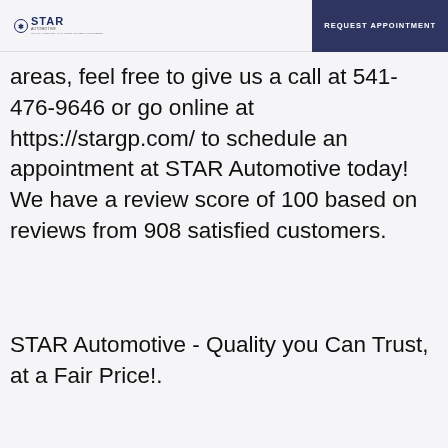STAR Automotive | REQUEST APPOINTMENT
areas, feel free to give us a call at 541-476-9646 or go online at https://stargp.com/ to schedule an appointment at STAR Automotive today! We have a review score of 100 based on reviews from 908 satisfied customers.
STAR Automotive - Quality you Can Trust, at a Fair Price!.